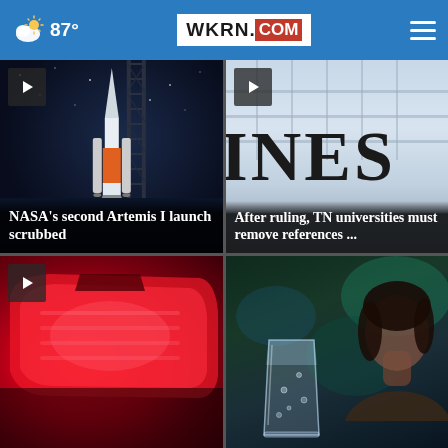87° WKRN.COM
[Figure (photo): NASA Artemis I rocket on launch pad at night with orange rocket and scaffolding tower]
NASA's second Artemis I launch scrubbed
[Figure (photo): Close-up of building exterior showing partial letters INES (from LINES or MARINES)]
After ruling, TN universities must remove references ...
[Figure (photo): Close-up of red car tail light]
[Figure (photo): Person with a glass of water or sparkling drink]